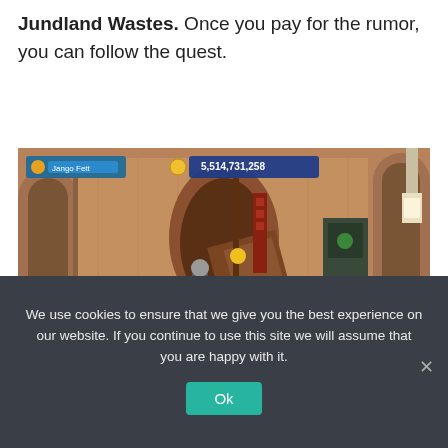Jundland Wastes. Once you pay for the rumor, you can follow the quest.
[Figure (screenshot): Screenshot of a LEGO Star Wars video game showing a LEGO character in a sandy desert environment (Mos Eisley Cantina area). A blue trail quest marker is visible on the ground. HUD shows player name 'Jango Fett' and stud count 5,514,731,258.]
We use cookies to ensure that we give you the best experience on our website. If you continue to use this site we will assume that you are happy with it.